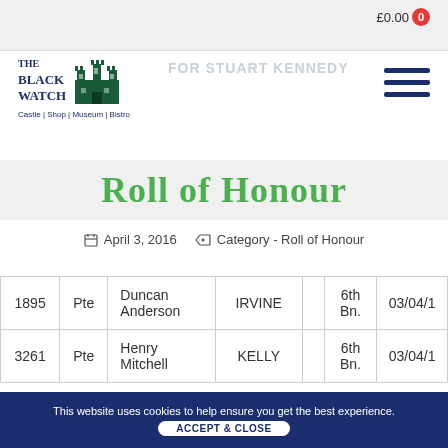[Figure (logo): The Black Watch Castle Shop Museum Bistro logo with castle illustration]
£0.00  0
FOR STUART KENNEDY
Roll of Honour
April 3, 2016   Category - Roll of Honour
|  |  | Name | Location |  | Unit | Date |
| --- | --- | --- | --- | --- | --- | --- |
| 1895 | Pte | Duncan Anderson | IRVINE |  | 6th Bn. | 03/04/1... |
| 3261 | Pte | Henry Mitchell | KELLY |  | 6th Bn. | 03/04/1... |
This website uses cookies to help ensure you get the best experience.